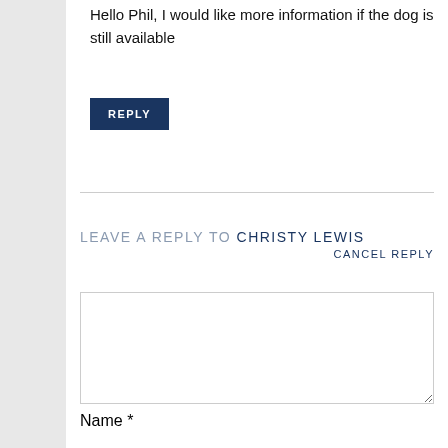Hello Phil, I would like more information if the dog is still available
REPLY
LEAVE A REPLY TO CHRISTY LEWIS
CANCEL REPLY
[Figure (screenshot): Empty comment textarea input box with light border]
Name *
Email *